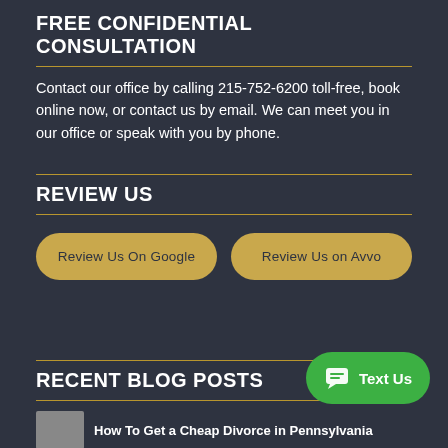FREE CONFIDENTIAL CONSULTATION
Contact our office by calling 215-752-6200 toll-free, book online now, or contact us by email. We can meet you in our office or speak with you by phone.
REVIEW US
[Figure (other): Two gold rounded buttons: 'Review Us On Google' and 'Review Us on Avvo']
RECENT BLOG POSTS
[Figure (other): Green rounded button with SMS icon and text 'Text Us']
How To Get a Cheap Divorce in Pennsylvania